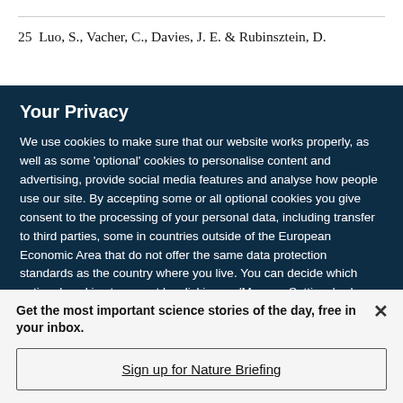25  Luo, S., Vacher, C., Davies, J. E. & Rubinsztein, D.
Your Privacy
We use cookies to make sure that our website works properly, as well as some 'optional' cookies to personalise content and advertising, provide social media features and analyse how people use our site. By accepting some or all optional cookies you give consent to the processing of your personal data, including transfer to third parties, some in countries outside of the European Economic Area that do not offer the same data protection standards as the country where you live. You can decide which optional cookies to accept by clicking on 'Manage Settings', where you can
Get the most important science stories of the day, free in your inbox.
Sign up for Nature Briefing